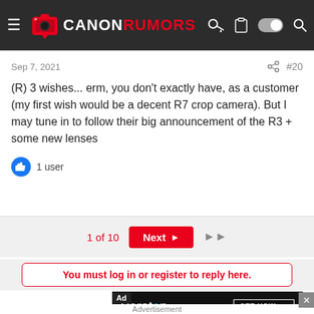CANON RUMORS
Sep 7, 2021
#20
(R) 3 wishes... erm, you don't exactly have, as a customer (my first wish would be a decent R7 crop camera). But I may tune in to follow their big announcement of the R3 + some new lenses
1 user
1 of 10
Next
You must log in or register to reply here.
[Figure (screenshot): Peraton advertisement banner with text 'DO THE CAN'T BE DONE.' and SEE HOW button]
Advertisement